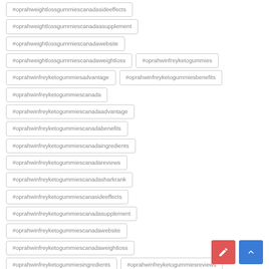#oprahweightlossgummiescanadasideeffects
#oprahweightlossgummiescanadaasupplement
#oprahweightlossgummiescanadawebsite
#oprahweightlossgummiescanadaweightloss
#oprahwinfreyketogummies
#oprahwinfreyketogummiesadvantage
#oprahwinfreyketogummiesbenefits
#oprahwinfreyketogummiescanada
#oprahwinfreyketogummiescanadaadvantage
#oprahwinfreyketogummiescanadabenefits
#oprahwinfreyketogummiescanadaingredients
#oprahwinfreyketogummiescanadareviews
#oprahwinfreyketogummiescanadasharkrank
#oprahwinfreyketogummiescanasideeffects
#oprahwinfreyketogummiescanadasupplement
#oprahwinfreyketogummiescanadawebsite
#oprahwinfreyketogummiescanadaweightloss
#oprahwinfreyketogummiesingredients
#oprahwinfreyketogummiesreviews